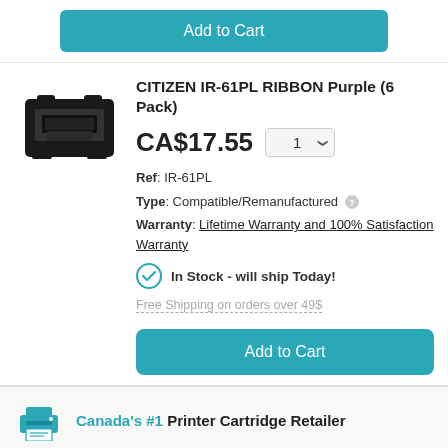Add to Cart
CITIZEN IR-61PL RIBBON Purple (6 Pack)
CA$17.55
Ref: IR-61PL
Type: Compatible/Remanufactured
Warranty: Lifetime Warranty and 100% Satisfaction Warranty
In Stock - will ship Today!
Free Shipping on orders over 49$
Add to Cart
Canada's #1 Printer Cartridge Retailer